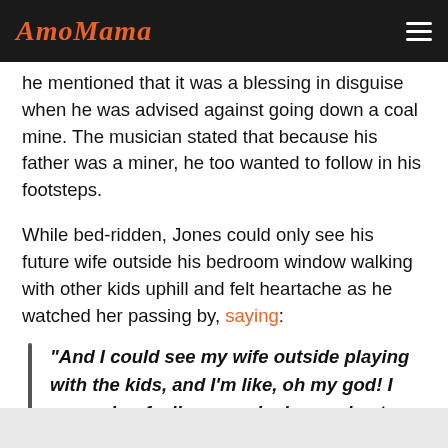AmoMama
he mentioned that it was a blessing in disguise when he was advised against going down a coal mine. The musician stated that because his father was a miner, he too wanted to follow in his footsteps.
While bed-ridden, Jones could only see his future wife outside his bedroom window walking with other kids uphill and felt heartache as he watched her passing by, saying:
"And I could see my wife outside playing with the kids, and I'm like, oh my god! I remember feeling an ache in my chest, you know what they say about heartache? Honestly."